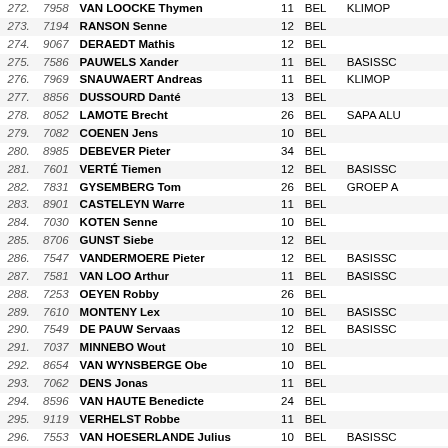| Rank | Bib | Name | Age | Nat | Club |
| --- | --- | --- | --- | --- | --- |
| 272. | 7958 | VAN LOOCKE Thymen | 11 | BEL | KLIMOP |
| 273. | 7194 | RANSON Senne | 12 | BEL |  |
| 274. | 9067 | DERAEDT Mathis | 12 | BEL |  |
| 275. | 7586 | PAUWELS Xander | 11 | BEL | BASISSC |
| 276. | 7969 | SNAUWAERT Andreas | 11 | BEL | KLIMOP |
| 277. | 8856 | DUSSOURD Danté | 13 | BEL |  |
| 278. | 8052 | LAMOTE Brecht | 26 | BEL | SAPA ALU |
| 279. | 7082 | COENEN Jens | 10 | BEL |  |
| 280. | 8985 | DEBEVER Pieter | 34 | BEL |  |
| 281. | 7601 | VERTÉ Tiemen | 12 | BEL | BASISSC |
| 282. | 7831 | GYSEMBERG Tom | 26 | BEL | GROEP A |
| 283. | 8901 | CASTELEYN Warre | 11 | BEL |  |
| 284. | 7030 | KOTEN Senne | 10 | BEL |  |
| 285. | 8706 | GUNST Siebe | 12 | BEL |  |
| 286. | 7547 | VANDERMOERE Pieter | 12 | BEL | BASISSC |
| 287. | 7581 | VAN LOO Arthur | 11 | BEL | BASISSC |
| 288. | 7253 | OEYEN Robby | 26 | BEL |  |
| 289. | 7610 | MONTENY Lex | 10 | BEL | BASISSC |
| 290. | 7549 | DE PAUW Servaas | 12 | BEL | BASISSC |
| 291. | 7037 | MINNEBO Wout | 10 | BEL |  |
| 292. | 8654 | VAN WYNSBERGE Obe | 10 | BEL |  |
| 293. | 7062 | DENS Jonas | 11 | BEL |  |
| 294. | 8596 | VAN HAUTE Benedicte | 24 | BEL |  |
| 295. | 9119 | VERHELST Robbe | 11 | BEL |  |
| 296. | 7553 | VAN HOESERLANDE Julius | 10 | BEL | BASISSC |
| 297. | 7775 | SCHOONJANS Steven | 29 | BEL | DECATHL |
| 298. | 8660 | CALLANT Julien | 10 | BEL |  |
| 299. | 7866 | SAP Jan | 30 | BEL | HOTEL- B |
| 300. | 9000 | GHEYSEN Peter | 28 | BEL |  |
| 301. | 8236 | CRABBE Robbe | 13 | BEL | TER GRO |